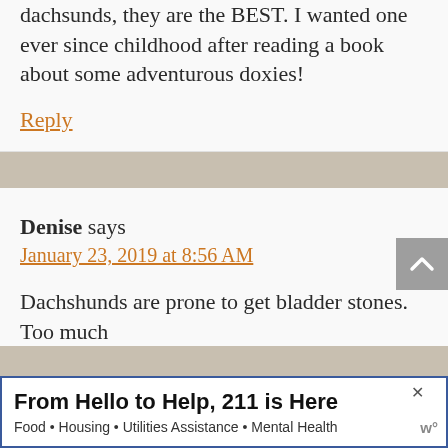dachsunds, they are the BEST. I wanted one ever since childhood after reading a book about some adventurous doxies!
Reply
Denise says
January 23, 2019 at 8:56 AM
Dachshunds are prone to get bladder stones. Too much
From Hello to Help, 211 is Here
Food • Housing • Utilities Assistance • Mental Health